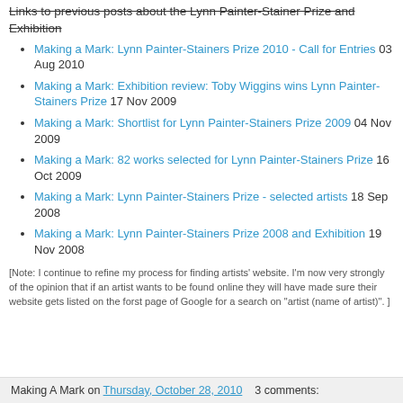Links to previous posts about the Lynn Painter-Stainer Prize and Exhibition
Making a Mark: Lynn Painter-Stainers Prize 2010 - Call for Entries 03 Aug 2010
Making a Mark: Exhibition review: Toby Wiggins wins Lynn Painter-Stainers Prize 17 Nov 2009
Making a Mark: Shortlist for Lynn Painter-Stainers Prize 2009 04 Nov 2009
Making a Mark: 82 works selected for Lynn Painter-Stainers Prize 16 Oct 2009
Making a Mark: Lynn Painter-Stainers Prize - selected artists 18 Sep 2008
Making a Mark: Lynn Painter-Stainers Prize 2008 and Exhibition 19 Nov 2008
[Note:  I continue to refine my process for finding artists' website.  I'm now very strongly of the opinion that if an artist wants to be found online they will have made sure their website gets listed on the forst page of Google for a search on "artist (name of artist)". ]
Making A Mark on Thursday, October 28, 2010   3 comments: